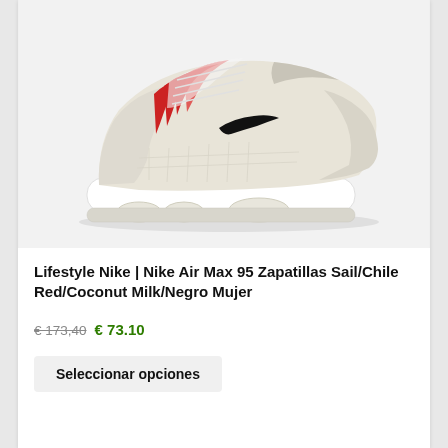[Figure (photo): Nike Air Max 95 sneaker in Sail/Chile Red/Coconut Milk/Negro colorway, side profile view on white/light grey background]
Lifestyle Nike | Nike Air Max 95 Zapatillas Sail/Chile Red/Coconut Milk/Negro Mujer
€ 173,40 € 73.10
Seleccionar opciones